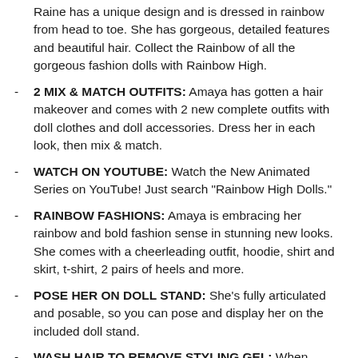Raine has a unique design and is dressed in rainbow from head to toe. She has gorgeous, detailed features and beautiful hair. Collect the Rainbow of all the gorgeous fashion dolls with Rainbow High.
2 MIX & MATCH OUTFITS: Amaya has gotten a hair makeover and comes with 2 new complete outfits with doll clothes and doll accessories. Dress her in each look, then mix & match.
WATCH ON YOUTUBE: Watch the New Animated Series on YouTube! Just search "Rainbow High Dolls."
RAINBOW FASHIONS: Amaya is embracing her rainbow and bold fashion sense in stunning new looks. She comes with a cheerleading outfit, hoodie, shirt and skirt, t-shirt, 2 pairs of heels and more.
POSE HER ON DOLL STAND: She's fully articulated and posable, so you can pose and display her on the included doll stand.
WASH HAIR TO REMOVE STYLING GEL: When